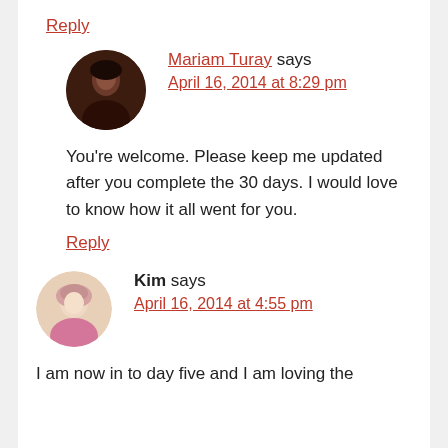Reply
Mariam Turay says
April 16, 2014 at 8:29 pm
You're welcome. Please keep me updated after you complete the 30 days. I would love to know how it all went for you.
Reply
Kim says
April 16, 2014 at 4:55 pm
I am now in to day five and I am loving the